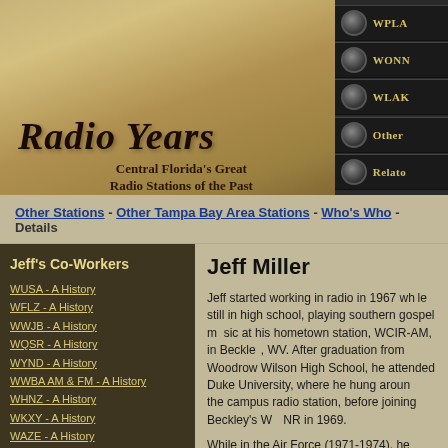[Figure (illustration): Radio Years website header banner with vintage radio image, old document/newspaper background, and title 'Radio Years - Central Florida's Great Radio Stations of the Past' with navigation buttons WPLA, WONN, WLAK, Other, Related on the right side]
Other Stations - Other Tampa Bay Area Stations - Who's Who - Details
Jeff's Co-Workers
WUSA - A History
WFLZ - A History
WWJB - A History
WQSR - A History
WYND - A History
WWBA AM & FM - A History
WHNZ - A History
WKXY - A History
WAZE - A History
Jeff Miller
Jeff started working in radio in 1967 while still in high school, playing southern gospel music at his hometown station, WCIR-AM, in Beckley, WV. After graduation from Woodrow Wilson High School, he attended Duke University, where he hung around the campus radio station, before joining Beckley's WWNR in 1969.
While in the Air Force (1971-1974), he knowledge of which came in handy after and returning to WJLS. In 1979, he mo